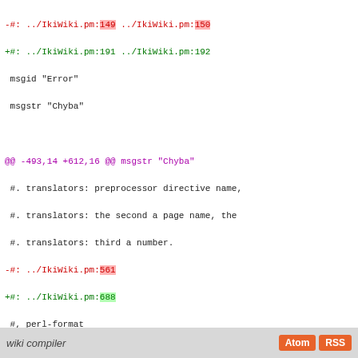[Figure (screenshot): A diff/patch view of a PO translation file showing removed lines in red and added lines in green with highlighted changed tokens]
wiki compiler   Atom  RSS